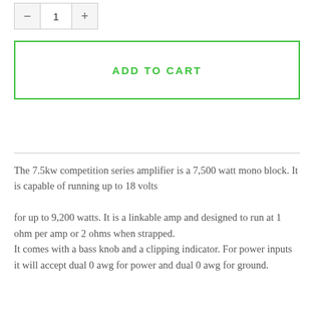1
ADD TO CART
The 7.5kw competition series amplifier is a 7,500 watt mono block. It is capable of running up to 18 volts

for up to 9,200 watts. It is a linkable amp and designed to run at 1 ohm per amp or 2 ohms when strapped.
It comes with a bass knob and a clipping indicator. For power inputs it will accept dual 0 awg for power and dual 0 awg for ground.